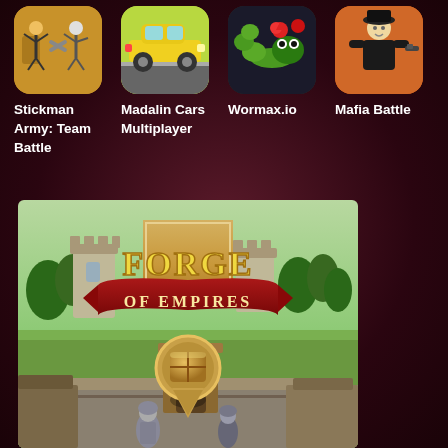[Figure (screenshot): App store or game portal page showing four game icons at top: Stickman Army Team Battle, Madalin Cars Multiplayer, Wormax.io, Mafia Battle, and a large Forge of Empires promotional banner below.]
Stickman Army: Team Battle
Madalin Cars Multiplayer
Wormax.io
Mafia Battle
[Figure (illustration): Forge of Empires game banner showing a medieval fantasy city-building game logo with castle towers and a resource crate marker on an isometric village scene.]